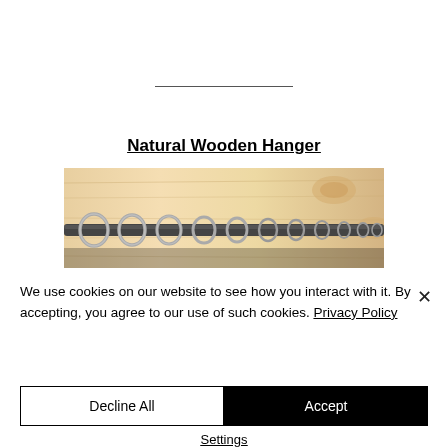Natural Wooden Hanger
[Figure (photo): Close-up photo of metal rings/hooks on a wooden hanger rail against a light wood background]
We use cookies on our website to see how you interact with it. By accepting, you agree to our use of such cookies. Privacy Policy
Decline All
Accept
Settings